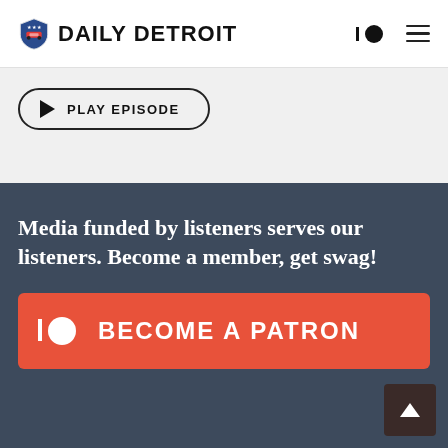DAILY DETROIT
[Figure (screenshot): Play Episode button with triangle play icon and rounded border]
Media funded by listeners serves our listeners. Become a member, get swag!
[Figure (infographic): BECOME A PATRON button with Patreon logo icon on orange/red background]